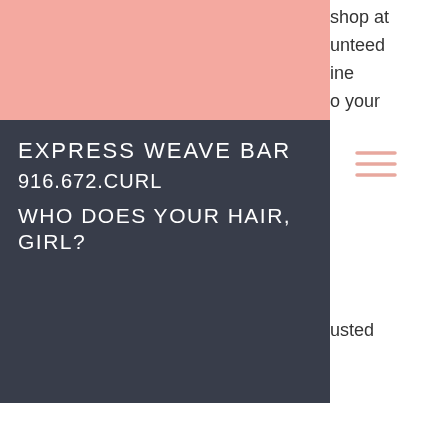[Figure (screenshot): Website header screenshot showing Express Weave Bar with pink banner, dark navy navigation bar with brand name, phone number 916.672.CURL, tagline WHO DOES YOUR HAIR, GIRL?, hamburger menu icon, and partial right-side text about shopping, guarantee, and trusted]
2. Get fast and discreet delivery
3. Discounted prices you can use any time you want
4. No need to pay shipping for steroid drugs
5. Use any currency
6. Free delivery within USA